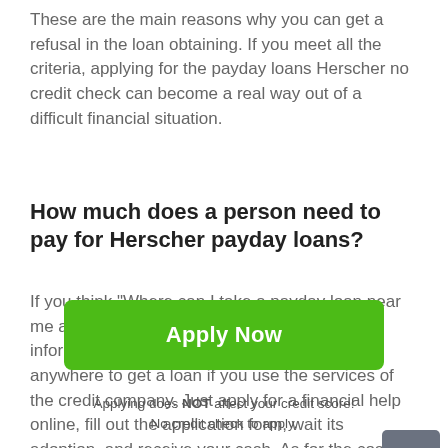These are the main reasons why you can get a refusal in the loan obtaining. If you meet all the criteria, applying for the payday loans Herscher no credit check can become a real way out of a difficult financial situation.
How much does a person need to pay for Herscher payday loans?
If you think "Where can I take a payday loan near me and how much will it cost?" - the following information is for you. You don't need to go anywhere to get a loan if you use the services of the credit company. Just apply for a financial help online, fill out the application form, wait its adoption, and receive your cash. As for the cost of the
[Figure (other): Scroll-to-top button: grey rounded square with white upward arrow]
Apply Now
Applying does NOT affect your credit score!
No credit check to apply.